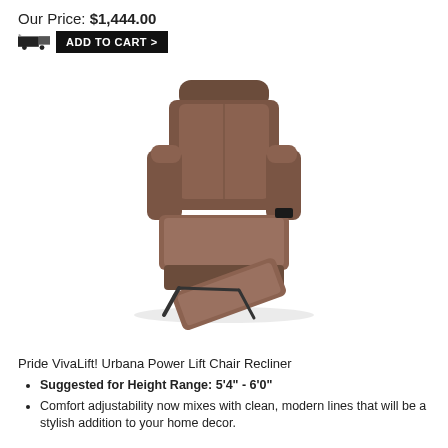Our Price: $1,444.00
ADD TO CART >
[Figure (photo): Pride VivaLift! Urbana Power Lift Chair Recliner in brown/dark chocolate fabric, shown in reclined position with footrest extended, three-quarter front view on white background.]
Pride VivaLift! Urbana Power Lift Chair Recliner
Suggested for Height Range: 5'4" - 6'0"
Comfort adjustability now mixes with clean, modern lines that will be a stylish addition to your home decor.